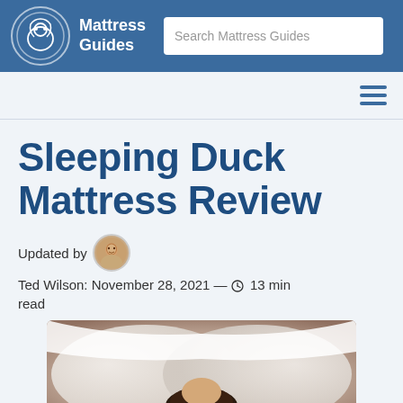Mattress Guides | Search Mattress Guides
Sleeping Duck Mattress Review
Updated by Ted Wilson: November 28, 2021 — 13 min read
[Figure (photo): Couple lying in bed with white pillows and bedding, presumably on a Sleeping Duck mattress]